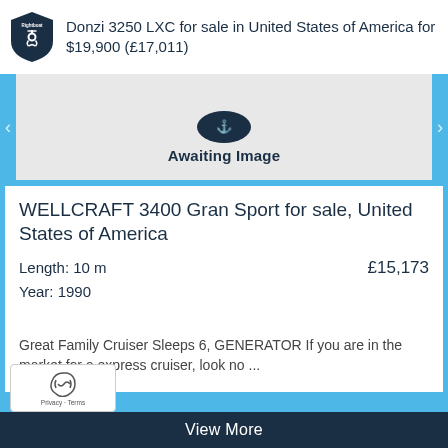Donzi 3250 LXC for sale in United States of America for $19,900 (£17,011)
[Figure (illustration): Awaiting Image placeholder with anchor icon]
WELLCRAFT 3400 Gran Sport for sale, United States of America
Length: 10 m
Year: 1990
£15,173
Great Family Cruiser Sleeps 6, GENERATOR If you are in the market for a express cruiser, look no ...
View More